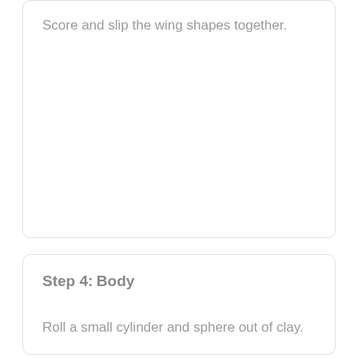Score and slip the wing shapes together.
Step 4:
Body
Roll a small cylinder and sphere out of clay.